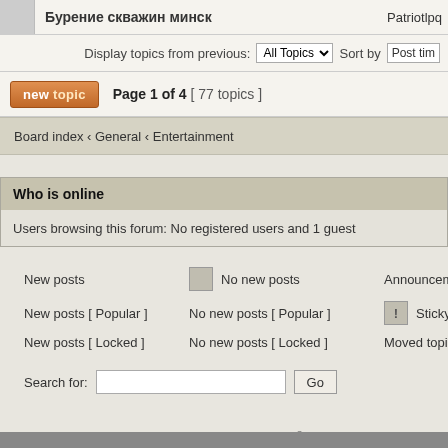Бурение скважин минск — Patriotlpq
Display topics from previous: All Topics ▾  Sort by  Post time
new topic   Page 1 of 4  [ 77 topics ]
Board index ‹ General ‹ Entertainment
Who is online
Users browsing this forum: No registered users and 1 guest
New posts
No new posts
Announcement
New posts [ Popular ]
No new posts [ Popular ]
Sticky
New posts [ Locked ]
No new posts [ Locked ]
Moved topic
Search for:  [text input]  Go
Powered by phpBB © 2000, 2002, 2005, 2007 p
610nm Style by Daniel St. Jules of Game